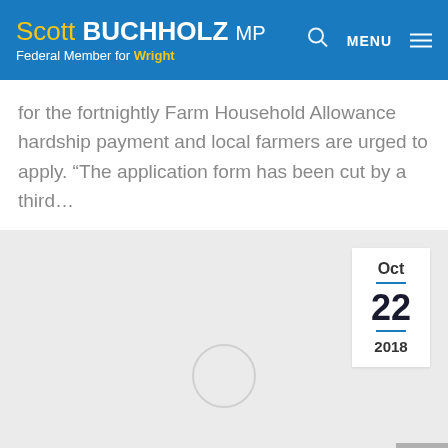Scott BUCHHOLZ MP — Federal Member for Wright
for the fortnightly Farm Household Allowance hardship payment and local farmers are urged to apply. “The application form has been cut by a third…
[Figure (other): Article card with date badge showing Oct 22 2018, loading circle placeholder, and grey background]
Oct
22
2018